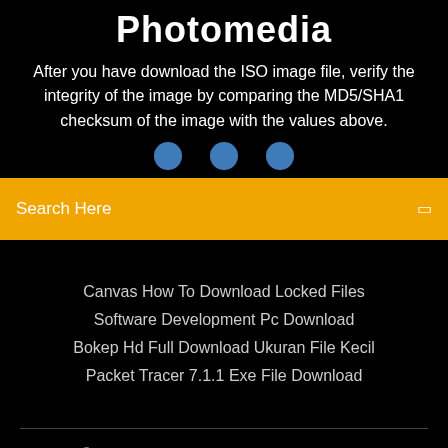Photomedia
After you have download the ISO image file, verify the integrity of the image by comparing the MD5/SHA1 checksum of the image with the values above.
Search Here
Canvas How To Download Locked Files
Software Development Pc Download
Bokep Hd Full Download Ukuran File Kecil
Packet Tracer 7.1.1 Exe File Download
Copyright ©2022 All rights reserved | This template is made